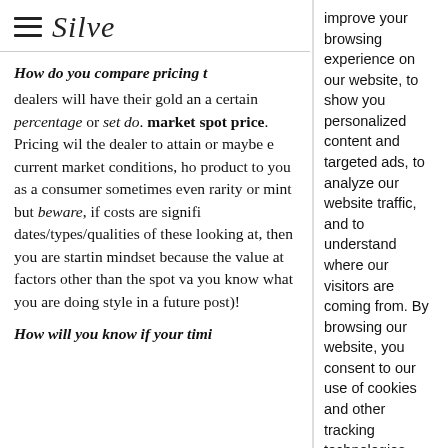Silve
How do you compare pricing t
dealers will have their gold an a certain percentage or set do. market spot price. Pricing wil the dealer to attain or maybe e current market conditions, ho product to you as a consumer sometimes even rarity or mint but beware, if costs are signifi dates/types/qualities of these looking at, then you are startin mindset because the value at factors other than the spot va you know what you are doing style in a future post)!
How will you know if your timi
improve your browsing experience on our website, to show you personalized content and targeted ads, to analyze our website traffic, and to understand where our visitors are coming from. By browsing our website, you consent to our use of cookies and other tracking technologies.